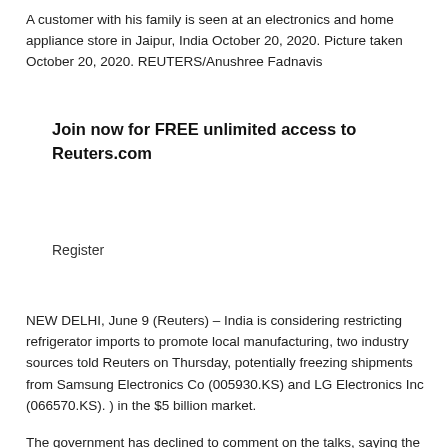A customer with his family is seen at an electronics and home appliance store in Jaipur, India October 20, 2020. Picture taken October 20, 2020. REUTERS/Anushree Fadnavis
Join now for FREE unlimited access to Reuters.com
Register
NEW DELHI, June 9 (Reuters) – India is considering restricting refrigerator imports to promote local manufacturing, two industry sources told Reuters on Thursday, potentially freezing shipments from Samsung Electronics Co (005930.KS) and LG Electronics Inc (066570.KS). ) in the $5 billion market.